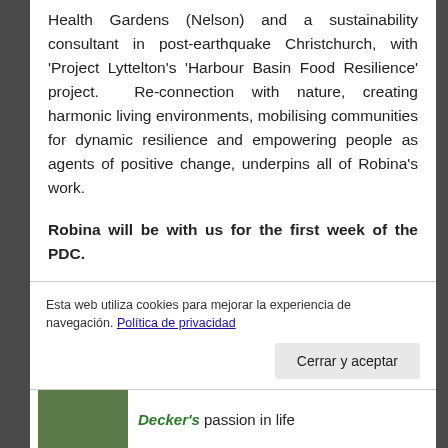Health Gardens (Nelson) and a sustainability consultant in post-earthquake Christchurch, with 'Project Lyttelton's 'Harbour Basin Food Resilience' project. Re-connection with nature, creating harmonic living environments, mobilising communities for dynamic resilience and empowering people as agents of positive change, underpins all of Robina's work.
Robina will be with us for the first week of the PDC.
Lead facilitator
Esta web utiliza cookies para mejorar la experiencia de navegación. Política de privacidad
Cerrar y aceptar
Decker's passion in life